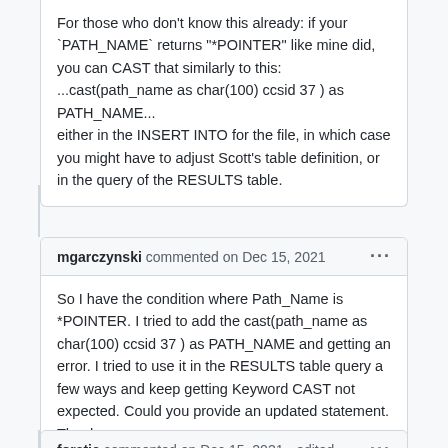For those who don't know this already: if your `PATH_NAME` returns "*POINTER" like mine did, you can CAST that similarly to this:
...cast(path_name as char(100) ccsid 37 ) as PATH_NAME...
either in the INSERT INTO for the file, in which case you might have to adjust Scott's table definition, or in the query of the RESULTS table.
mgarczynski commented on Dec 15, 2021
So I have the condition where Path_Name is *POINTER. I tried to add the cast(path_name as char(100) ccsid 37 ) as PATH_NAME and getting an error. I tried to use it in the RESULTS table query a few ways and keep getting Keyword CAST not expected. Could you provide an updated statement. Thanks
forstie commented on Dec 15, 2021 • edited